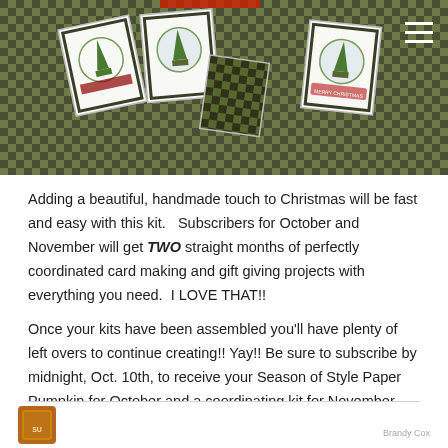[Figure (photo): Photo of handmade Christmas cards with plaid green/black buffalo check background pattern. Multiple white cards with circular tree stamp designs, red and green text stamps, and decorative elements are fanned out on the checkered surface.]
Adding a beautiful, handmade touch to Christmas will be fast and easy with this kit.   Subscribers for October and November will get TWO straight months of perfectly coordinated card making and gift giving projects with everything you need.  I LOVE THAT!!
Once your kits have been assembled you’ll have plenty of left overs to continue creating!! Yay!! Be sure to subscribe by midnight, Oct. 10th, to receive your Season of Style Paper Pumpkin for October and a coordinating kit for November.  Yay!!
[Figure (logo): Small brown/orange square logo at bottom left, partially visible Stampin' Up style logo]